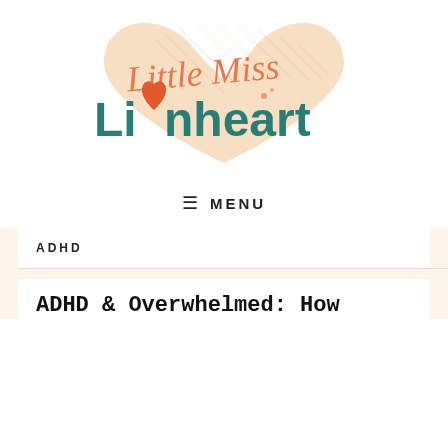[Figure (logo): Little Miss Lionheart logo with a peach/orange heart in the background and handwritten-style text saying 'Little Miss' in orange above 'Lionheart' in teal, with a small red heart replacing the 'o' in Lionheart]
≡ MENU
ADHD
ADHD & Overwhelmed: How